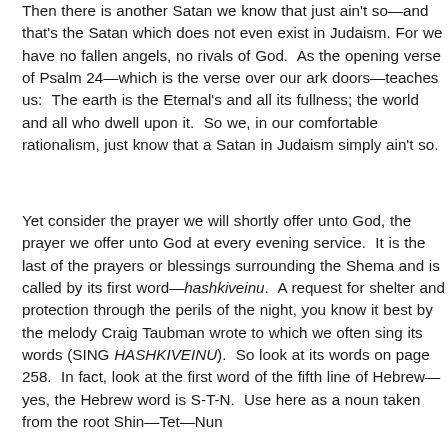Then there is another Satan we know that just ain't so—and that's the Satan which does not even exist in Judaism. For we have no fallen angels, no rivals of God.  As the opening verse of Psalm 24—which is the verse over our ark doors—teaches us:  The earth is the Eternal's and all its fullness; the world and all who dwell upon it.  So we, in our comfortable rationalism, just know that a Satan in Judaism simply ain't so.
Yet consider the prayer we will shortly offer unto God, the prayer we offer unto God at every evening service.  It is the last of the prayers or blessings surrounding the Shema and is called by its first word—hashkiveinu.  A request for shelter and protection through the perils of the night, you know it best by the melody Craig Taubman wrote to which we often sing its words (SING HASHKIVEINU).  So look at its words on page 258.  In fact, look at the first word of the fifth line of Hebrew—yes, the Hebrew word is S-T-N.  Use here as a noun taken from the root Shin—Tet—Nun meaning to hinder, to oppose, to obstruct, and